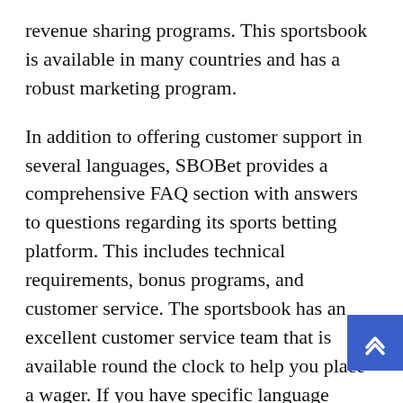revenue sharing programs. This sportsbook is available in many countries and has a robust marketing program.
In addition to offering customer support in several languages, SBOBet provides a comprehensive FAQ section with answers to questions regarding its sports betting platform. This includes technical requirements, bonus programs, and customer service. The sportsbook has an excellent customer service team that is available round the clock to help you place a wager. If you have specific language requirements, you can also reach their live chat support representatives to get a quick response. It's important to note that this sportsbook is not available for players in all